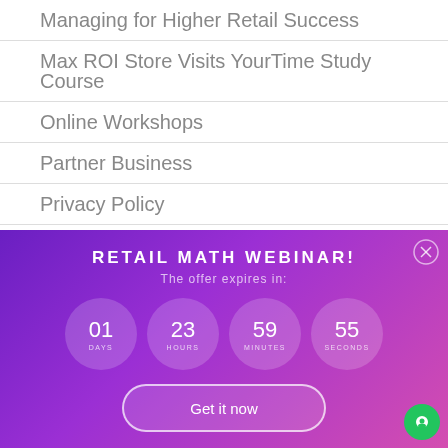Managing for Higher Retail Success
Max ROI Store Visits YourTime Study Course
Online Workshops
Partner Business
Privacy Policy
RETAIL MATH WEBINAR!
The offer expires in:
01 DAYS  23 HOURS  59 MINUTES  55 SECONDS
Get it now